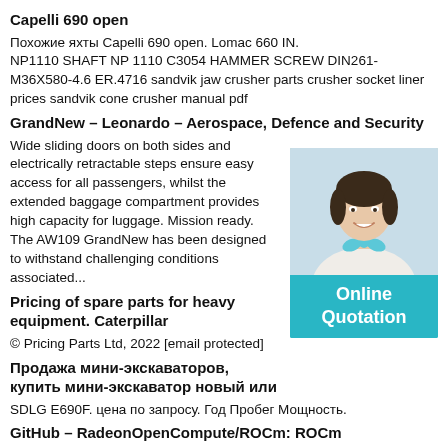Capelli 690 open
Похожие яхты Capelli 690 open. Lomac 660 IN. NP1110 SHAFT NP 1110 C3054 HAMMER SCREW DIN261-M36X580-4.6 ER.4716 sandvik jaw crusher parts crusher socket liner prices sandvik cone crusher manual pdf
GrandNew – Leonardo – Aerospace, Defence and Security
Wide sliding doors on both sides and electrically retractable steps ensure easy access for all passengers, whilst the extended baggage compartment provides high capacity for luggage. Mission ready. The AW109 GrandNew has been designed to withstand challenging conditions associated...
[Figure (photo): Advertisement image showing a smiling woman in a white blazer with blue bow, overlaying an Online Quotation banner with teal background]
Pricing of spare parts for heavy equipment. Caterpillar
© Pricing Parts Ltd, 2022 [email protected]
Продажа мини-экскаваторов, купить мини-экскаватор новый или
SDLG E690F. цена по запросу. Год Пробег Мощность.
GitHub - RadeonOpenCompute/ROCm: ROCm
In order to focus our development efforts on these domains of interest, ROCm supports a targeted set of hardware configurations which are detailed further in this section. Note: The AMD ROCm™ open software platform is a compute stack for headless system deployments.
Запасные части экскаваторов гусеничных,